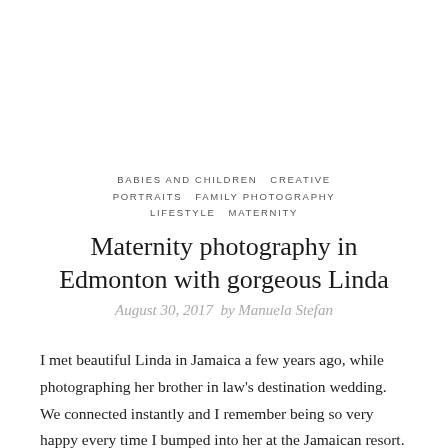BABIES AND CHILDREN  CREATIVE PORTRAITS  FAMILY PHOTOGRAPHY  LIFESTYLE  MATERNITY
Maternity photography in Edmonton with gorgeous Linda
August 30, 2017  by Manuela Stefan
I met beautiful Linda in Jamaica a few years ago, while photographing her brother in law's destination wedding. We connected instantly and I remember being so very happy every time I bumped into her at the Jamaican resort. We chatted several times and our